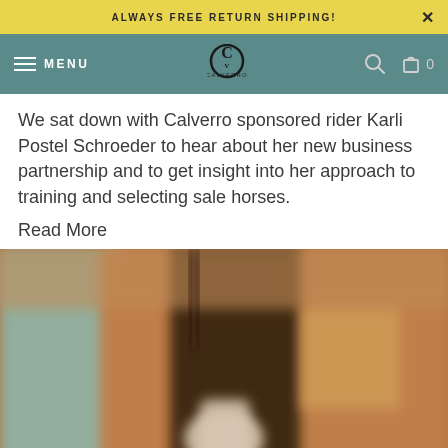ALWAYS FREE RETURN SHIPPING!
[Figure (screenshot): Calverro website navigation bar with hamburger menu, MENU text, Calverro logo, search icon, and cart icon with 0 count]
We sat down with Calverro sponsored rider Karli Postel Schroeder to hear about her new business partnership and to get insight into her approach to training and selecting sale horses.
Read More
[Figure (photo): Blurred photograph showing a barn or stable interior with warm brown tones, a dark doorway/archway, and a white horse or figure visible in the lower center]